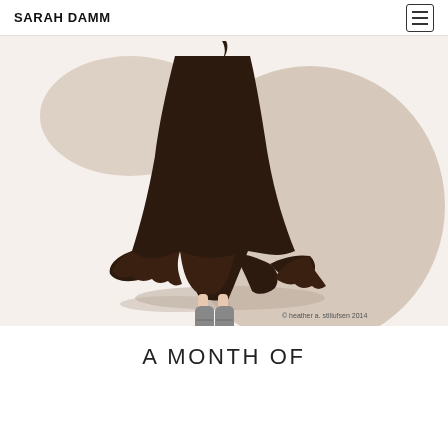SARAH DAMM
[Figure (illustration): Fashion illustration showing the lower body of a woman wearing a dark brown ruffled midi skirt and grey ankle boots, stepping forward. A large taupe/beige abstract shape is in the background. Copyright watermark reads '© heather a. stillufsen 2014'.]
A MONTH OF